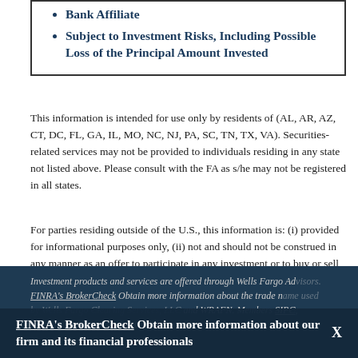Bank Affiliate
Subject to Investment Risks, Including Possible Loss of the Principal Amount Invested
This information is intended for use only by residents of (AL, AR, AZ, CT, DC, FL, GA, IL, MO, NC, NJ, PA, SC, TN, TX, VA). Securities-related services may not be provided to individuals residing in any state not listed above. Please consult with the FA as s/he may not be registered in all states.
For parties residing outside of the U.S., this information is: (i) provided for informational purposes only, (ii) not and should not be construed in any manner as an offer to participate in any investment or to buy or sell any securities or related financial instruments, and (iii) not and should not be construed in any manner as a public offering of any financial services, securities or related financial instruments. Products and services listed may not be available, or may have restrictions, depending on client country of residence.
Investment products and services are offered through Wells Fargo Advisors. FINRA's BrokerCheck Obtain more information about our firm and its financial professionals X the trade name used by Wells Fargo Clearing Services, LLC and WRAFN. Members SIPC, separate registered broker-dealers and